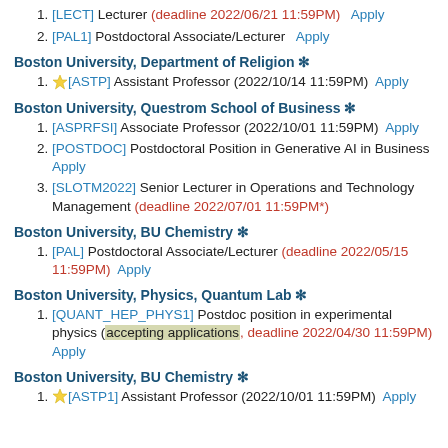1. [LECT] Lecturer (deadline 2022/06/21 11:59PM) Apply
2. [PAL1] Postdoctoral Associate/Lecturer Apply
Boston University, Department of Religion *
1. ★[ASTP] Assistant Professor (2022/10/14 11:59PM) Apply
Boston University, Questrom School of Business *
1. [ASPRFSI] Associate Professor (2022/10/01 11:59PM) Apply
2. [POSTDOC] Postdoctoral Position in Generative AI in Business Apply
3. [SLOTM2022] Senior Lecturer in Operations and Technology Management (deadline 2022/07/01 11:59PM*)
Boston University, BU Chemistry *
1. [PAL] Postdoctoral Associate/Lecturer (deadline 2022/05/15 11:59PM) Apply
Boston University, Physics, Quantum Lab *
1. [QUANT_HEP_PHYS1] Postdoc position in experimental physics (accepting applications, deadline 2022/04/30 11:59PM) Apply
Boston University, BU Chemistry *
1. ★[ASTP1] Assistant Professor (2022/10/01 11:59PM) Apply